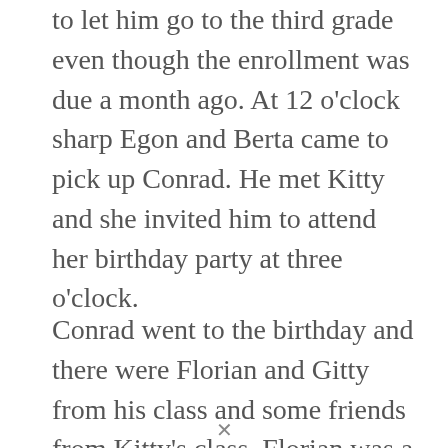to let him go to the third grade even though the enrollment was due a month ago. At 12 o'clock sharp Egon and Berta came to pick up Conrad. He met Kitty and she invited him to attend her birthday party at three o'clock.
Conrad went to the birthday and there were Florian and Gitty from his class and some friends from Kitty's class. Florian was a big boy, taller than Conrad and he picked on him. Anton, from Kitty's class, was jealous of Conrad because Kitty defended him. All of the kids played various games but Conrad was the best at all of them. Anton and Florian were very jealous of him. In